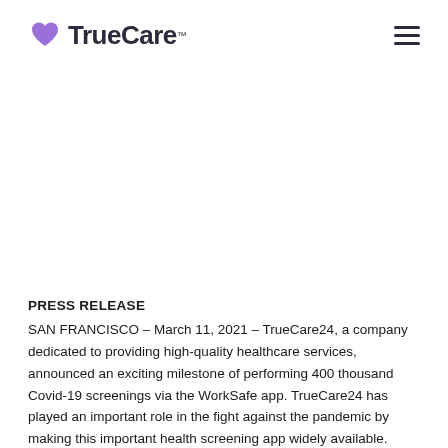[Figure (logo): TrueCare logo with purple heart icon and TrueCare text in dark color, plus a hamburger menu icon on the right]
PRESS RELEASE
SAN FRANCISCO – March 11, 2021 – TrueCare24, a company dedicated to providing high-quality healthcare services, announced an exciting milestone of performing 400 thousand Covid-19 screenings via the WorkSafe app. TrueCare24 has played an important role in the fight against the pandemic by making this important health screening app widely available. Despite encouraging information in the new year, Covid-19 continues to spread. Even with new vaccination campaigns in